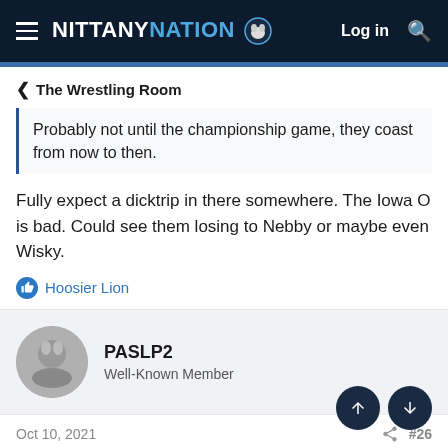NITTANY NATION — Log in
< The Wrestling Room
Probably not until the championship game, they coast from now to then.
Fully expect a dicktrip in there somewhere. The Iowa O is bad. Could see them losing to Nebby or maybe even Wisky.
Hoosier Lion
PASLP2
Well-Known Member
Oct 10, 2021   #26
El-Jefe said: